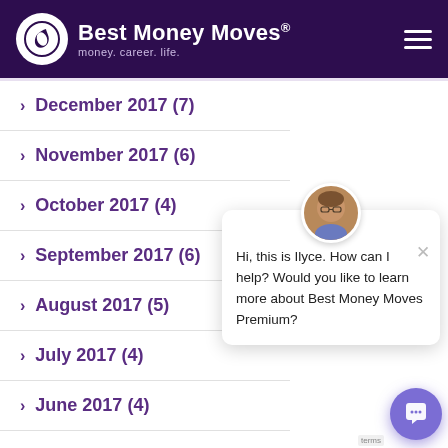Best Money Moves® — money. career. life.
> December 2017 (7)
> November 2017 (6)
> October 2017 (4)
> September 2017 (6)
> August 2017 (5)
> July 2017 (4)
> June 2017 (4)
> May 2017 (5)
Hi, this is Ilyce. How can I help? Would you like to learn more about Best Money Moves Premium?